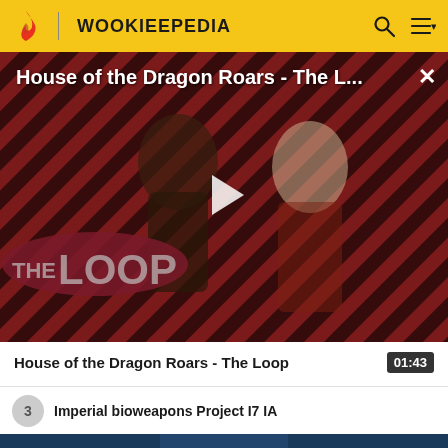WOOKIEEPEDIA
[Figure (screenshot): Video thumbnail for 'House of the Dragon Roars - The L...' showing two characters against a diagonal red and dark stripe pattern background, with a play button in the center and The Loop logo in the lower left. Close button (x) in upper right.]
House of the Dragon Roars - The Loop
Imperial bioweapons Project I7 IA
[Figure (photo): Partial view of a character in blue-toned scene, bottom strip of page]